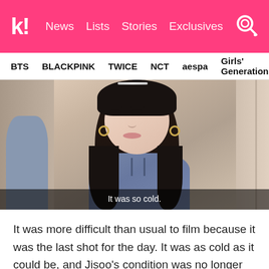k! News  Lists  Stories  Exclusives
BTS  BLACKPINK  TWICE  NCT  aespa  Girls' Generation
[Figure (screenshot): Video still of K-pop idol Jisoo from BLACKPINK with subtitle 'It was so cold.']
It was more difficult than usual to film because it was the last shot for the day. It was as cold as it could be, and Jisoo's condition was no longer fresh.
I was the last person to shoot. After